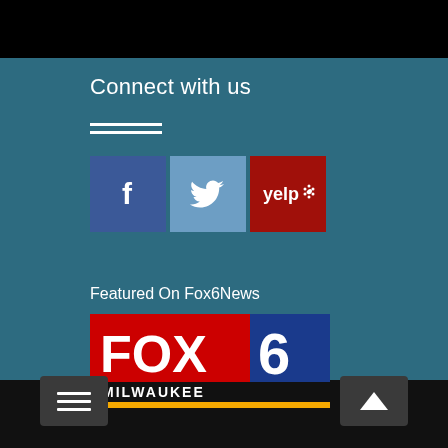Connect with us
[Figure (logo): Social media icons: Facebook (f), Twitter (bird), Yelp (yelp*)]
Featured On Fox6News
[Figure (logo): FOX 6 Milwaukee logo with red FOX, blue 6, black MILWAUKEE bar and yellow underline]